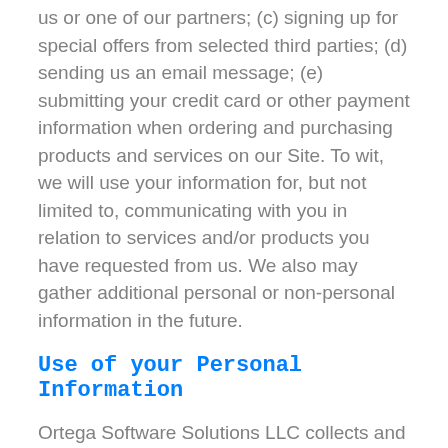us or one of our partners; (c) signing up for special offers from selected third parties; (d) sending us an email message; (e) submitting your credit card or other payment information when ordering and purchasing products and services on our Site. To wit, we will use your information for, but not limited to, communicating with you in relation to services and/or products you have requested from us. We also may gather additional personal or non-personal information in the future.
Use of your Personal Information
Ortega Software Solutions LLC collects and uses your personal information to operate its website(s)